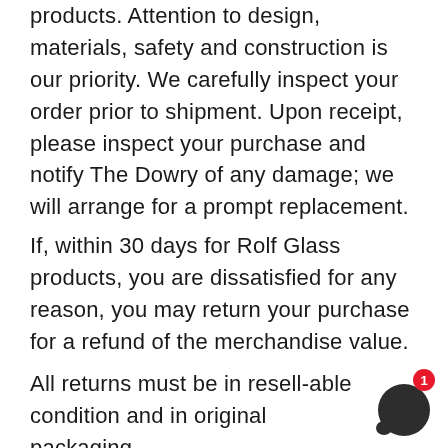products. Attention to design, materials, safety and construction is our priority. We carefully inspect your order prior to shipment. Upon receipt, please inspect your purchase and notify The Dowry of any damage; we will arrange for a prompt replacement.
If, within 30 days for Rolf Glass products, you are dissatisfied for any reason, you may return your purchase for a refund of the merchandise value.
All returns must be in resell-able condition and in original packaging.